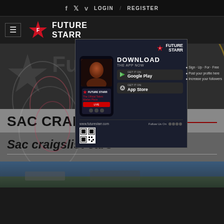f  v  LOGIN / REGISTER
[Figure (logo): FutureStarr logo with hamburger menu icon, star graphic and FUTURE STARR text]
[Figure (screenshot): FutureStarr app download popup advertisement showing phone mockup, DOWNLOAD THE APP NOW text, Google Play and App Store buttons, QR code, and website www.futurestarr.com]
SAC CRAIGSLIST CARS
Sac craigslist cars
[Figure (photo): Bottom strip showing outdoor/cars scene photo thumbnail]